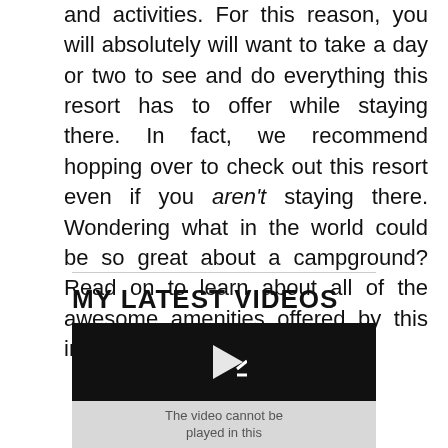and activities. For this reason, you will absolutely will want to take a day or two to see and do everything this resort has to offer while staying there. In fact, we recommend hopping over to check out this resort even if you aren't staying there. Wondering what in the world could be so great about a campground? Read on to learn about all of the awesome amenities offered by this incredible Disney Resort.
MY LATEST VIDEOS
[Figure (screenshot): Video player showing a play button icon on a dark background, with a gray area below displaying 'The video cannot be played in this' text.]